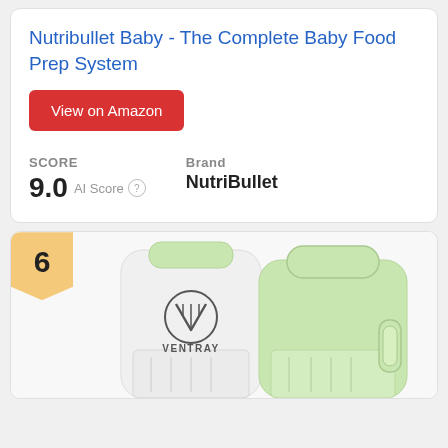Nutribullet Baby - The Complete Baby Food Prep System
View on Amazon
SCORE
9.0  AI Score
Brand
NutriBullet
[Figure (photo): Two Ventray baby food blenders side by side - one white and one light green, with VENTRAY logo visible on the white unit]
6